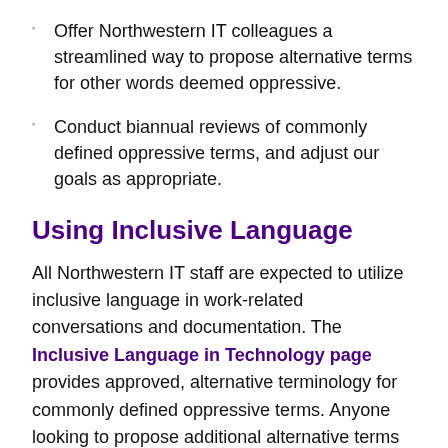Offer Northwestern IT colleagues a streamlined way to propose alternative terms for other words deemed oppressive.
Conduct biannual reviews of commonly defined oppressive terms, and adjust our goals as appropriate.
Using Inclusive Language
All Northwestern IT staff are expected to utilize inclusive language in work-related conversations and documentation. The Inclusive Language in Technology page provides approved, alternative terminology for commonly defined oppressive terms. Anyone looking to propose additional alternative terms or replace an oppressive phrase can submit a request at any time